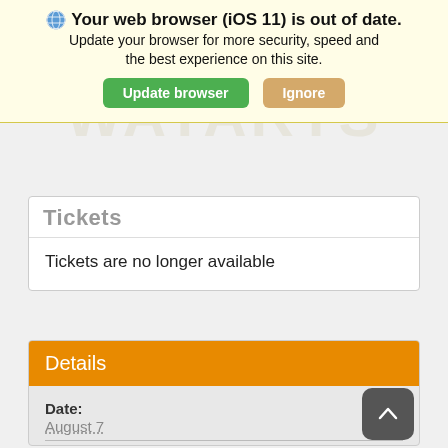Your web browser (iOS 11) is out of date. Update your browser for more security, speed and the best experience on this site.
Update browser  Ignore
Tickets
Tickets are no longer available
Details
Date:
August 7
Time:
1:00 pm - 2:30 pm